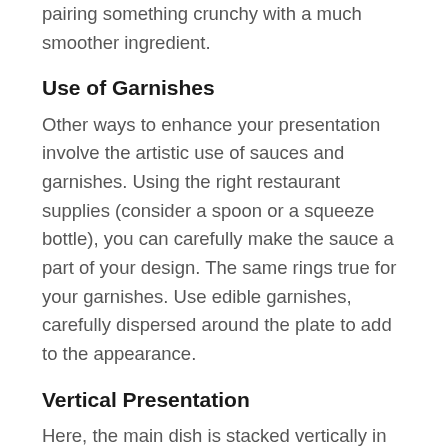pairing something crunchy with a much smoother ingredient.
Use of Garnishes
Other ways to enhance your presentation involve the artistic use of sauces and garnishes. Using the right restaurant supplies (consider a spoon or a squeeze bottle), you can carefully make the sauce a part of your design. The same rings true for your garnishes. Use edible garnishes, carefully dispersed around the plate to add to the appearance.
Vertical Presentation
Here, the main dish is stacked vertically in the middle of the plate, with the rest of the plate decorated sparsely, for a simple, attractive and